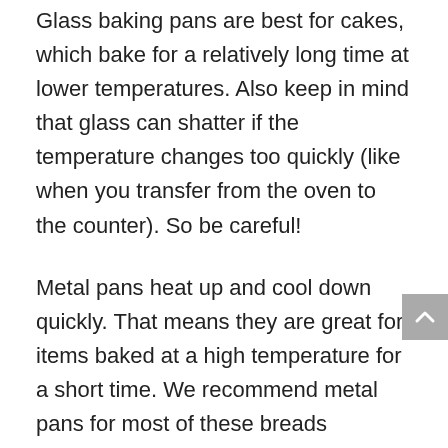Glass baking pans are best for cakes, which bake for a relatively long time at lower temperatures. Also keep in mind that glass can shatter if the temperature changes too quickly (like when you transfer from the oven to the counter). So be careful!
Metal pans heat up and cool down quickly. That means they are great for items baked at a high temperature for a short time. We recommend metal pans for most of these breads (although you can use glass or ceramic if you prefer).
We are happy to hear from our customers at any time for any reason. You can reach us at [email protected] We strive to respond within a few